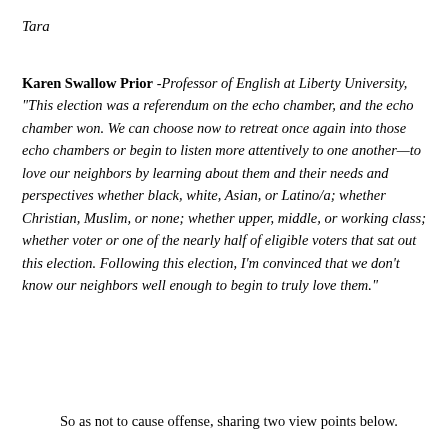Tara
Karen Swallow Prior -Professor of English at Liberty University,  "This election was a referendum on the echo chamber, and the echo chamber won. We can choose now to retreat once again into those echo chambers or begin to listen more attentively to one another—to love our neighbors by learning about them and their needs and perspectives whether black, white, Asian, or Latino/a; whether Christian, Muslim, or none; whether upper, middle, or working class; whether voter or one of the nearly half of eligible voters that sat out this election. Following this election, I'm convinced that we don't know our neighbors well enough to begin to truly love them."
So as not to cause offense, sharing two view points below.